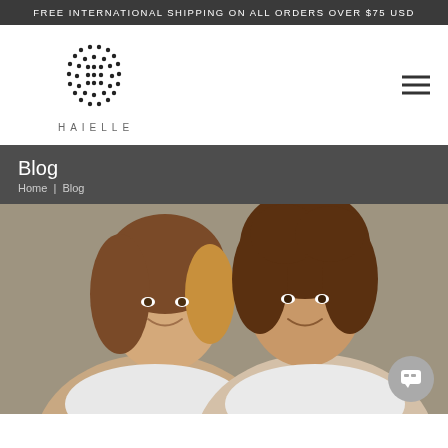FREE INTERNATIONAL SHIPPING ON ALL ORDERS OVER $75 USD
[Figure (logo): Haielle brand logo — circular dot pattern above the word HAIELLE in spaced serif capitals]
Blog
Home | Blog
[Figure (photo): Two women smiling and laughing together, wearing white tops, photographed against a neutral background]